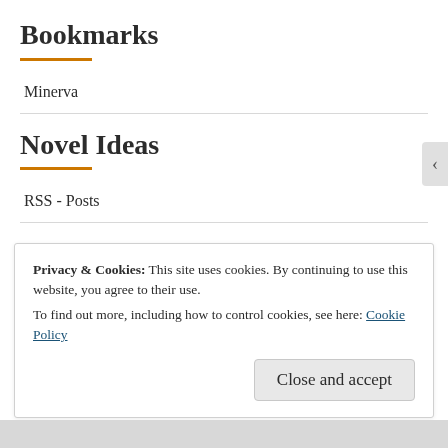Bookmarks
Minerva
Novel Ideas
RSS - Posts
Archives
Privacy & Cookies: This site uses cookies. By continuing to use this website, you agree to their use.
To find out more, including how to control cookies, see here: Cookie Policy
Close and accept